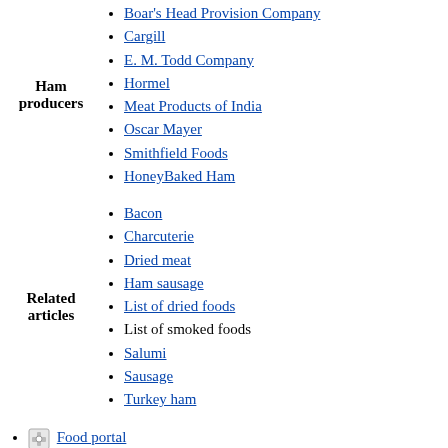Boar's Head Provision Company
Cargill
E. M. Todd Company
Hormel
Meat Products of India
Oscar Mayer
Smithfield Foods
HoneyBaked Ham
Bacon
Charcuterie
Dried meat
Ham sausage
List of dried foods
List of smoked foods
Salumi
Sausage
Turkey ham
Food portal
Category: Ham
Cooking techniques
Cooking techniques